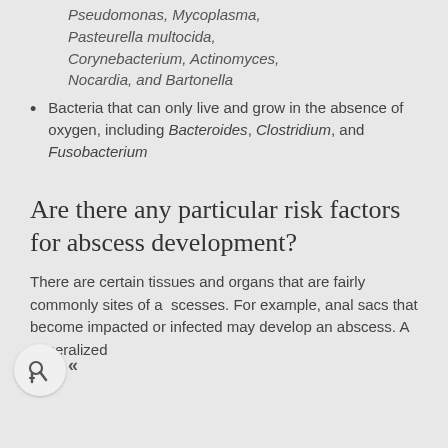Pseudomonas, Mycoplasma, Pasteurella multocida, Corynebacterium, Actinomyces, Nocardia, and Bartonella
Bacteria that can only live and grow in the absence of oxygen, including Bacteroides, Clostridium, and Fusobacterium
Are there any particular risk factors for abscess development?
There are certain tissues and organs that are fairly commonly sites of abscesses. For example, anal sacs that become impacted or infected may develop an abscess. A generalized